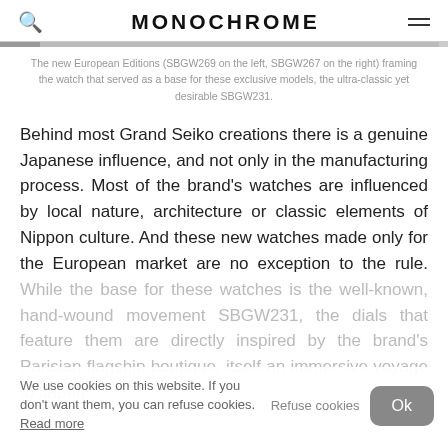MONOCHROME
The new European Editions (SBGW269 on the left, SBGW267 on the right) framing the watch that served as a base for these exclusive models, the ultra-classic yet desirable SBGW231.
Behind most Grand Seiko creations there is a genuine Japanese influence, and not only in the manufacturing process. Most of the brand's watches are influenced by local nature, architecture or classic elements of Nippon culture. And these new watches made only for the European market are no exception to the rule. While the base for these watches is the well-known, hand-wound movement SBGW231, the dials that feature them are directly inspired by the brand's Parisian flagship boutique, itself an immersive voyage to Japan.
We use cookies on this website. If you don't want them, you can refuse cookies. Refuse cookies Ok